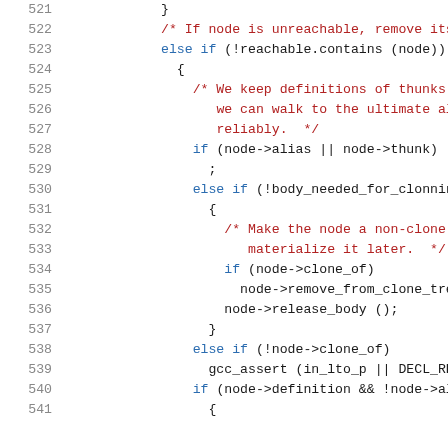Source code listing, lines 521-541, C/C++ code with syntax highlighting